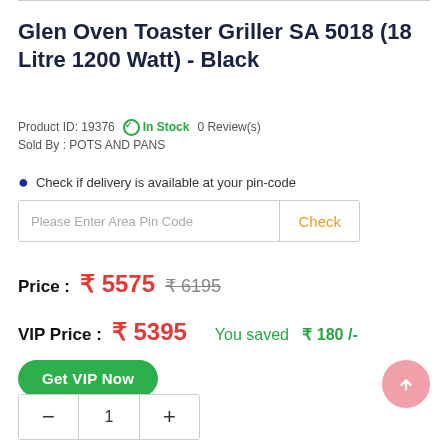Glen Oven Toaster Griller SA 5018 (18 Litre 1200 Watt) - Black
Product ID: 19376  In Stock  0 Review(s)
Sold By : POTS AND PANS
Check if delivery is available at your pin-code
Please Enter Area Pin Code  Check
Price :  ₹ 5575  ₹ 6195
VIP Price :  ₹ 5395  You saved  ₹ 180 /-
Get VIP Now
− 1 +